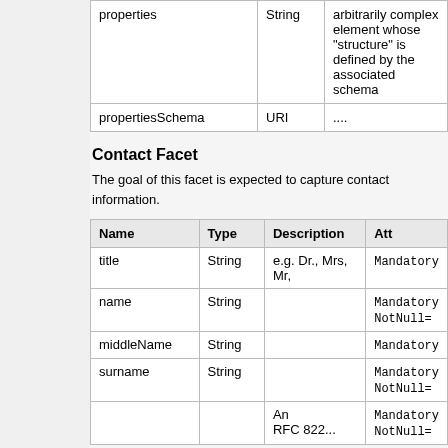| Name | Type | Description |
| --- | --- | --- |
| properties | String | arbitrarily complex element whose "structure" is defined by the associated schema |
| propertiesSchema | URI | .... |
Contact Facet
The goal of this facet is expected to capture contact information.
| Name | Type | Description | Att |
| --- | --- | --- | --- |
| title | String | e.g. Dr., Mrs, Mr, | Mandatory |
| name | String |  | Mandatory
NotNull= |
| middleName | String |  | Mandatory |
| surname | String |  | Mandatory
NotNull= |
|  |  | An
RFC 822... | Mandatory
NotNull= |